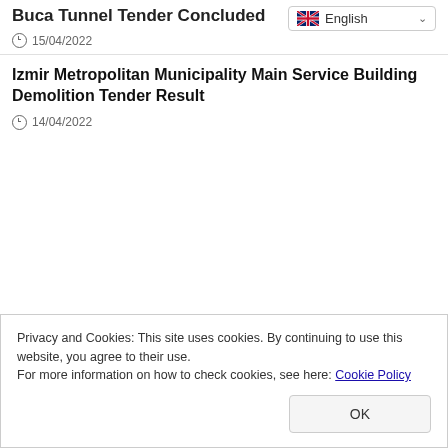Buca Tunnel Tender Concluded
15/04/2022
Izmir Metropolitan Municipality Main Service Building Demolition Tender Result
14/04/2022
Privacy and Cookies: This site uses cookies. By continuing to use this website, you agree to their use.
For more information on how to check cookies, see here: Cookie Policy